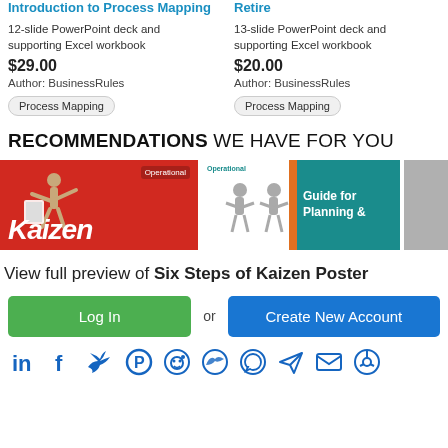Introduction to Process Mapping
12-slide PowerPoint deck and supporting Excel workbook
$29.00
Author: BusinessRules
Process Mapping
Retire
13-slide PowerPoint deck and supporting Excel workbook
$20.00
Author: BusinessRules
Process Mapping
RECOMMENDATIONS WE HAVE FOR YOU
[Figure (illustration): Kaizen red banner image with figure]
[Figure (illustration): Guide for Planning & image with teal background]
[Figure (illustration): Partially visible third image]
View full preview of Six Steps of Kaizen Poster
Log In
or
Create New Account